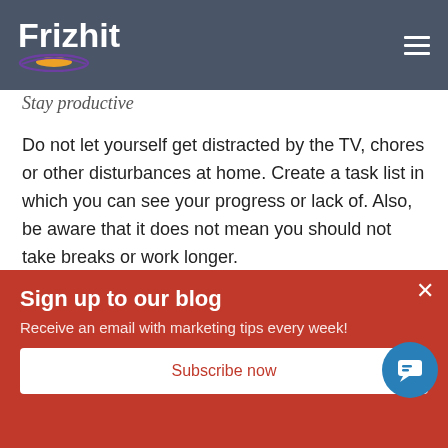Frizhit
Stay productive
Do not let yourself get distracted by the TV, chores or other disturbances at home. Create a task list in which you can see your progress or lack of. Also, be aware that it does not mean you should not take breaks or work longer.
4. Social Media Marketing Updates March 2020
Sign up to our blog
Receive an email with marketing tips every week!
Subscribe now